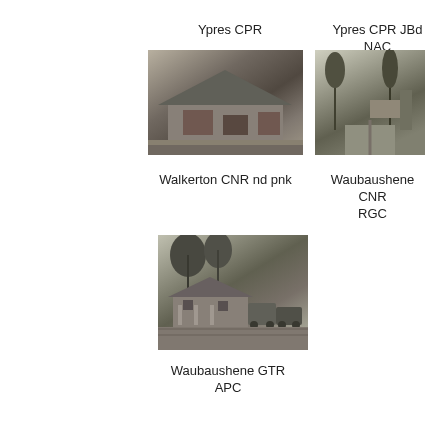Ypres CPR
[Figure (photo): Black and white photograph of Ypres CPR railway station building]
Ypres CPR JBd NAC
[Figure (photo): Black and white photograph of Ypres CPR JBd NAC railway station with trees and sign]
Walkerton CNR nd pnk
Waubaushene CNR
RGC
[Figure (photo): Black and white photograph of Waubaushene GTR railway station with train cars]
Waubaushene GTR
APC